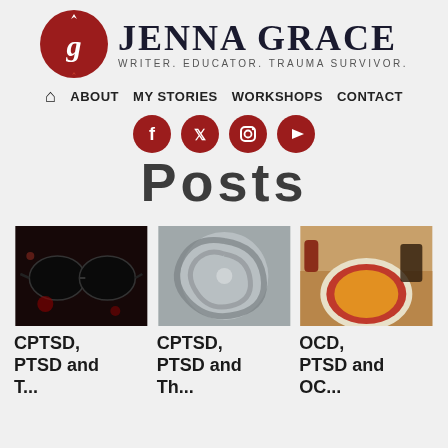[Figure (logo): Jenna Grace logo with red circle containing intertwined G letter, beside the text JENNA GRACE - WRITER. EDUCATOR. TRAUMA SURVIVOR.]
🏠 ABOUT  MY STORIES  WORKSHOPS  CONTACT
[Figure (infographic): Four red circular social media icons: Facebook, Twitter, Instagram, YouTube]
Posts
[Figure (photo): Dark photo of sunglasses with red bokeh lights in background]
[Figure (photo): Aerial satellite photo of a hurricane spiral]
[Figure (photo): Top-down photo of a pizza with tomato sauce and cheese, with drinks in background]
CPTSD, PTSD and T...
CPTSD, PTSD and Th...
OCD, PTSD and OC...